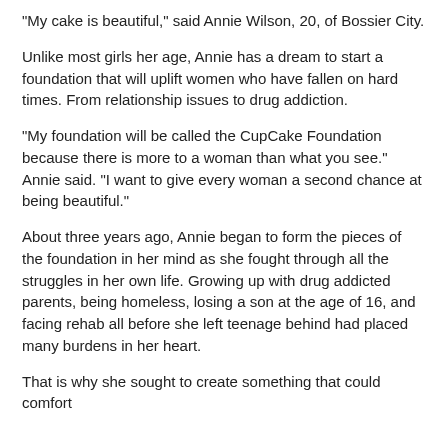“My cake is beautiful,” said Annie Wilson, 20, of Bossier City.
Unlike most girls her age, Annie has a dream to start a foundation that will uplift women who have fallen on hard times. From relationship issues to drug addiction.
“My foundation will be called the CupCake Foundation because there is more to a woman than what you see.” Annie said. “I want to give every woman a second chance at being beautiful.”
About three years ago, Annie began to form the pieces of the foundation in her mind as she fought through all the struggles in her own life. Growing up with drug addicted parents, being homeless, losing a son at the age of 16, and facing rehab all before she left teenage behind had placed many burdens in her heart.
That is why she sought to create something that could comfort